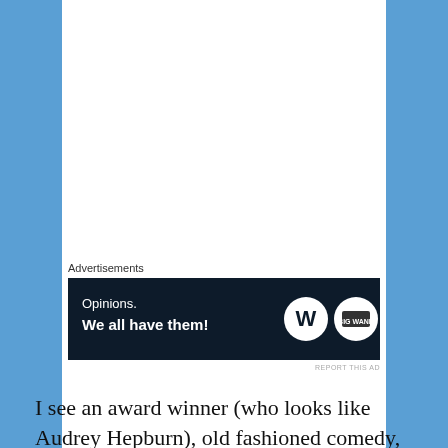Advertisements
[Figure (screenshot): Advertisement banner with dark navy background. Left side shows text 'Opinions. We all have them!' in white. Right side shows WordPress logo (W in circle) and another circular logo in white.]
REPORT THIS AD
I see an award winner (who looks like Audrey Hepburn), old fashioned comedy, diva, some Elvis